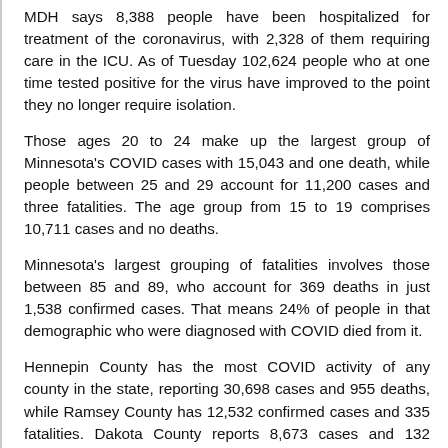MDH says 8,388 people have been hospitalized for treatment of the coronavirus, with 2,328 of them requiring care in the ICU. As of Tuesday 102,624 people who at one time tested positive for the virus have improved to the point they no longer require isolation.
Those ages 20 to 24 make up the largest group of Minnesota's COVID cases with 15,043 and one death, while people between 25 and 29 account for 11,200 cases and three fatalities. The age group from 15 to 19 comprises 10,711 cases and no deaths.
Minnesota's largest grouping of fatalities involves those between 85 and 89, who account for 369 deaths in just 1,538 confirmed cases. That means 24% of people in that demographic who were diagnosed with COVID died from it.
Hennepin County has the most COVID activity of any county in the state, reporting 30,698 cases and 955 deaths, while Ramsey County has 12,532 confirmed cases and 335 fatalities. Dakota County reports 8,673 cases and 132 deaths.